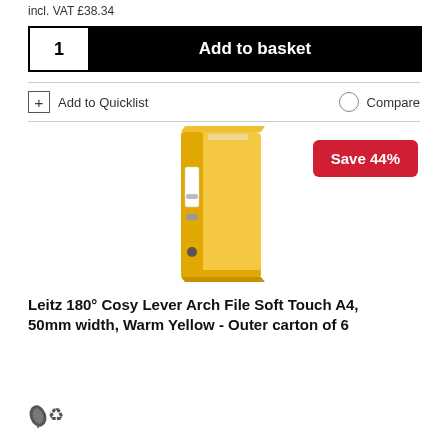incl. VAT £38.34
1   Add to basket
+ Add to Quicklist   Compare
[Figure (photo): Yellow Leitz 180° Cosy Lever Arch File, Soft Touch A4, 50mm width, Warm Yellow colour, shown at an angle with white label area visible]
Save 44%
Leitz 180° Cosy Lever Arch File Soft Touch A4, 50mm width, Warm Yellow - Outer carton of 6
[Figure (illustration): Two eco icons: a green leaf and a recycling symbol]